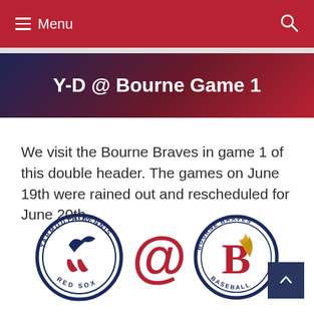≡ Menu
Y-D @ Bourne Game 1
We visit the Bourne Braves in game 1 of this double header. The games on June 19th were rained out and rescheduled for June 20th.
[Figure (logo): Yarmouth-Dennis Red Sox logo (circular with bird and socks), @ symbol in red, Bourne Braves Baseball logo (circular with feathered B)]